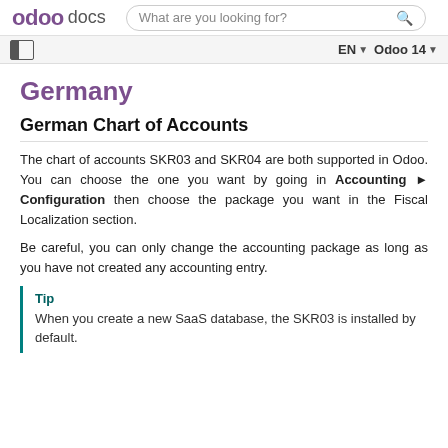odoo docs | What are you looking for? | EN | Odoo 14
Germany
German Chart of Accounts
The chart of accounts SKR03 and SKR04 are both supported in Odoo. You can choose the one you want by going in Accounting ▸ Configuration then choose the package you want in the Fiscal Localization section.
Be careful, you can only change the accounting package as long as you have not created any accounting entry.
Tip
When you create a new SaaS database, the SKR03 is installed by default.